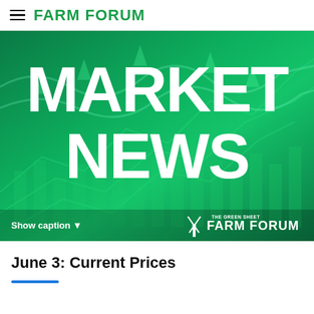FARM FORUM
[Figure (illustration): Green banner image with financial chart background (arrows, line charts, bar charts) and large white bold text reading 'MARKET NEWS'. Bottom overlay shows 'Show caption' link and Farm Forum / The Green Sheet logo.]
June 3: Current Prices